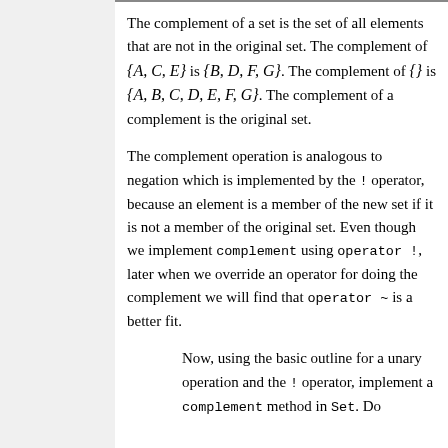The complement of a set is the set of all elements that are not in the original set. The complement of {A, C, E} is {B, D, F, G}. The complement of {} is {A, B, C, D, E, F, G}. The complement of a complement is the original set.
The complement operation is analogous to negation which is implemented by the ! operator, because an element is a member of the new set if it is not a member of the original set. Even though we implement complement using operator !, later when we override an operator for doing the complement we will find that operator ~ is a better fit.
Now, using the basic outline for a unary operation and the ! operator, implement a complement method in Set. Do